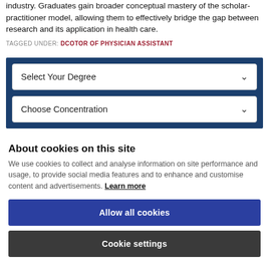industry. Graduates gain broader conceptual mastery of the scholar-practitioner model, allowing them to effectively bridge the gap between research and its application in health care.
TAGGED UNDER: DCOTOR OF PHYSICIAN ASSISTANT
[Figure (screenshot): Blue widget box with two dropdown selectors: 'Select Your Degree' and 'Choose Concentration']
About cookies on this site
We use cookies to collect and analyse information on site performance and usage, to provide social media features and to enhance and customise content and advertisements. Learn more
Allow all cookies
Cookie settings